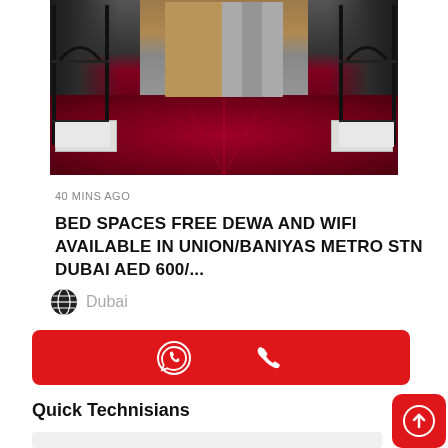[Figure (photo): Interior photo of a dormitory room with metal bunk beds on left and right sides, a red/maroon carpet floor in the center, and wooden/metal lockers visible at the back. White mattresses visible on lower bunks.]
40 MINS AGO
BED SPACES FREE DEWA AND WIFI AVAILABLE IN UNION/BANIYAS METRO STN DUBAI AED 600/...
Dubai
[Figure (infographic): Red action bar with WhatsApp icon and phone call icon]
Quick Technisians
[Figure (photo): Partially visible next listing card at bottom of screen]